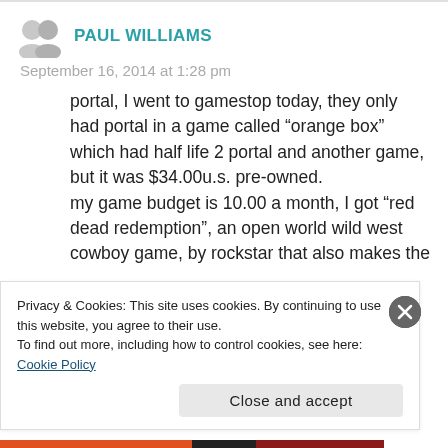PAUL WILLIAMS
September 16, 2014 at 1:28 pm
portal, I went to gamestop today, they only had portal in a game called “orange box” which had half life 2 portal and another game, but it was $34.00u.s. pre-owned.
my game budget is 10.00 a month, I got “red dead redemption”, an open world wild west cowboy game, by rockstar that also makes the
Privacy & Cookies: This site uses cookies. By continuing to use this website, you agree to their use.
To find out more, including how to control cookies, see here: Cookie Policy
Close and accept